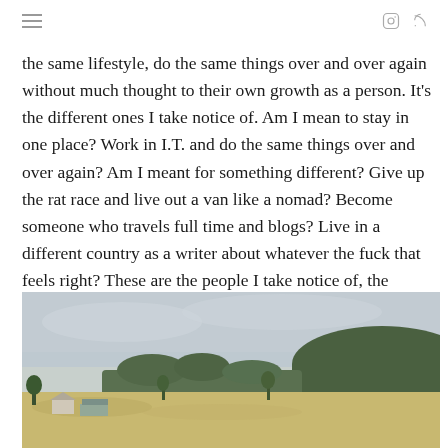≡  [instagram icon] [rss icon]
the same lifestyle, do the same things over and over again without much thought to their own growth as a person. It's the different ones I take notice of. Am I mean to stay in one place? Work in I.T. and do the same things over and over again? Am I meant for something different? Give up the rat race and live out a van like a nomad? Become someone who travels full time and blogs? Live in a different country as a writer about whatever the fuck that feels right? These are the people I take notice of, the 'round peg in the square hole'.
[Figure (photo): Aerial or elevated view of a rural Australian landscape with dry golden paddocks, scattered gum trees, a small farmhouse or rural buildings in the foreground, and a forested hill in the background under an overcast sky.]